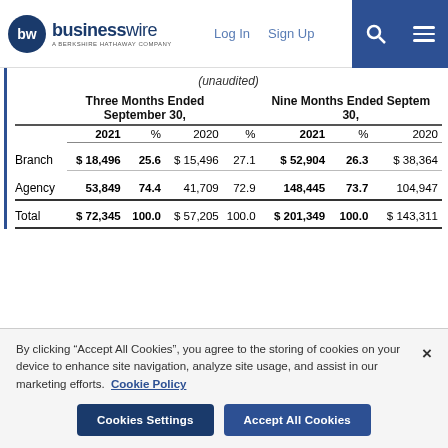businesswire — A BERKSHIRE HATHAWAY COMPANY | Log In | Sign Up
(unaudited)
|  | Three Months Ended September 30, 2021 | Three Months Ended September 30, % | Three Months Ended September 30, 2020 | Three Months Ended September 30, % | Nine Months Ended September 30, 2021 | Nine Months Ended September 30, % | Nine Months Ended September 30, 2020 |
| --- | --- | --- | --- | --- | --- | --- | --- |
| Branch | $ 18,496 | 25.6 | $ 15,496 | 27.1 | $ 52,904 | 26.3 | $ 38,364 |
| Agency | 53,849 | 74.4 | 41,709 | 72.9 | 148,445 | 73.7 | 104,947 |
| Total | $ 72,345 | 100.0 | $ 57,205 | 100.0 | $ 201,349 | 100.0 | $ 143,311 |
By clicking "Accept All Cookies", you agree to the storing of cookies on your device to enhance site navigation, analyze site usage, and assist in our marketing efforts. Cookie Policy
Cookies Settings
Accept All Cookies